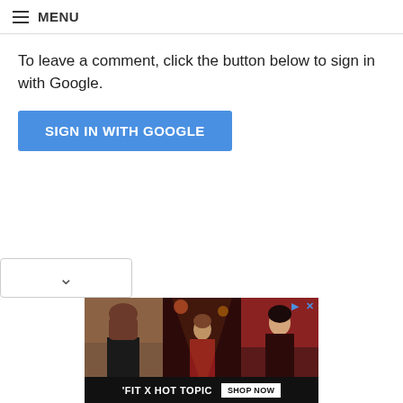≡ MENU
To leave a comment, click the button below to sign in with Google.
SIGN IN WITH GOOGLE
[Figure (screenshot): Dropdown chevron bar at bottom left of page]
[Figure (photo): Advertisement banner for 'FIT X HOT TOPIC' featuring three music/fashion figures with a SHOP NOW button]